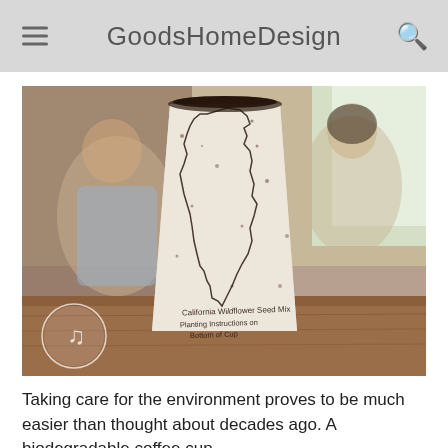GoodsHomeDesign
[Figure (photo): A biodegradable coffee cup with an outline of the state of California printed on it, sitting on a wooden table in a cafe. The cup reads 'California Wildflower Seed Mix' and 'Planting Instructions on Bottom of Cup'. A circular logo with a musical note is visible at the bottom left. People sitting in the cafe are blurred in the background.]
Taking care for the environment proves to be much easier than thought about decades ago. A biodegradable coffee cup